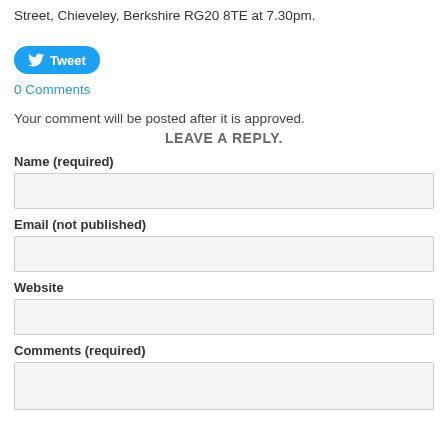Street, Chieveley, Berkshire RG20 8TE at 7.30pm.
[Figure (other): Tweet button]
0 Comments
Your comment will be posted after it is approved.
LEAVE A REPLY.
Name (required)
Email (not published)
Website
Comments (required)